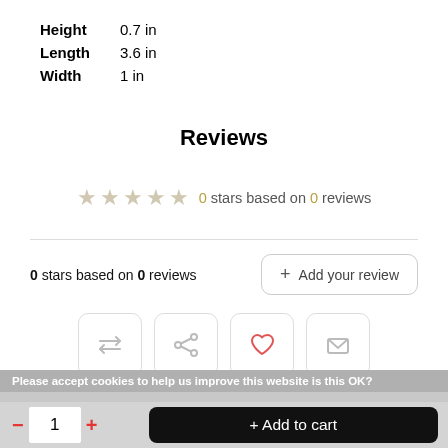| Height | 0.7 in |
| Length | 3.6 in |
| Width | 1 in |
Reviews
0 stars based on 0 reviews
0 stars based on 0 reviews
+ Add your review
[Figure (infographic): Four icon buttons: compare (two arrows), share, heart/wishlist, and email/envelope]
Please accept cookies to help us improve this website is this OK?
- 1 + R... + Add to cart